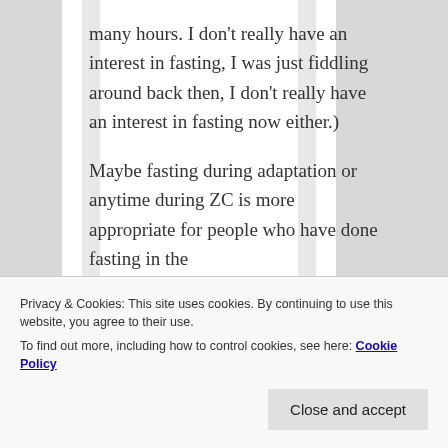many hours. I don't really have an interest in fasting, I was just fiddling around back then, I don't really have an interest in fasting now either.)

Maybe fasting during adaptation or anytime during ZC is more appropriate for people who have done fasting in the question is where
Privacy & Cookies: This site uses cookies. By continuing to use this website, you agree to their use.
To find out more, including how to control cookies, see here: Cookie Policy
Close and accept